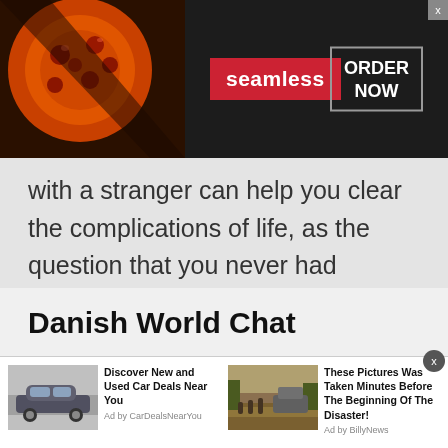[Figure (screenshot): Advertisement banner for Seamless food delivery service. Dark background with pizza image on left, red 'seamless' logo in center, and 'ORDER NOW' button in bordered box on right. Close button (x) in top-right corner.]
with a stranger can help you clear the complications of life, as the question that you never had answer for could have been answered by someone else already.
Danish World Chat
[Figure (screenshot): Two advertisement items in a row. Left: car image with text 'Discover New and Used Car Deals Near You' Ad by CarDealsNearYou. Right: flood/disaster scene image with text 'These Pictures Was Taken Minutes Before The Beginning Of The Disaster!' Ad by BillyNews. Close button at top right.]